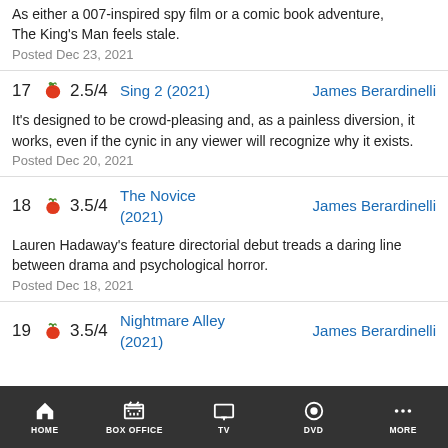As either a 007-inspired spy film or a comic book adventure, The King's Man feels stale.
Posted Dec 23, 2021
17  2.5/4  Sing 2 (2021)  James Berardinelli
It's designed to be crowd-pleasing and, as a painless diversion, it works, even if the cynic in any viewer will recognize why it exists.
Posted Dec 20, 2021
18  3.5/4  The Novice (2021)  James Berardinelli
Lauren Hadaway's feature directorial debut treads a daring line between drama and psychological horror.
Posted Dec 18, 2021
19  3.5/4  Nightmare Alley (2021)  James Berardinelli
HOME  BOX OFFICE  TV  DVD  MORE